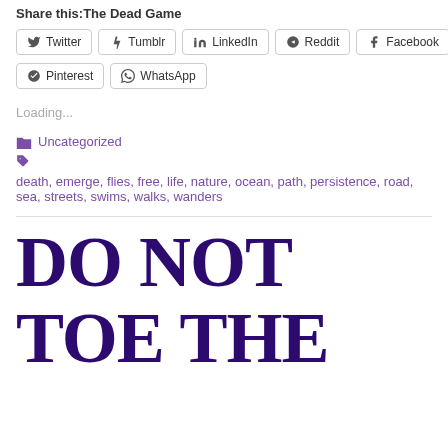Share this:The Dead Game
Twitter  Tumblr  LinkedIn  Reddit  Facebook  Pinterest  WhatsApp
Loading...
Uncategorized
death, emerge, flies, free, life, nature, ocean, path, persistence, road, sea, streets, swims, walks, wanders
DO NOT TOE THE